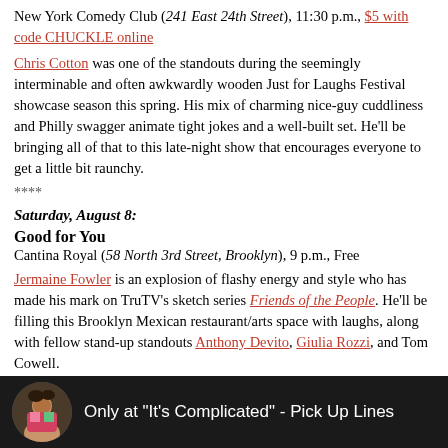New York Comedy Club (241 East 24th Street), 11:30 p.m., $5 with code CHUCKLE online
Chris Cotton was one of the standouts during the seemingly interminable and often awkwardly wooden Just for Laughs Festival showcase season this spring. His mix of charming nice-guy cuddliness and Philly swagger animate tight jokes and a well-built set. He'll be bringing all of that to this late-night show that encourages everyone to get a little bit raunchy.
****
Saturday, August 8:
Good for You
Cantina Royal (58 North 3rd Street, Brooklyn), 9 p.m., Free
Jermaine Fowler is an explosion of flashy energy and style who has made his mark on TruTV's sketch series Friends of the People. He'll be filling this Brooklyn Mexican restaurant/arts space with laughs, along with fellow stand-up standouts Anthony Devito, Giulia Rozzi, and Tom Cowell.
[Figure (screenshot): Dark banner showing a circular photo of a person and text: Only at "It's Complicated" - Pick Up Lines]